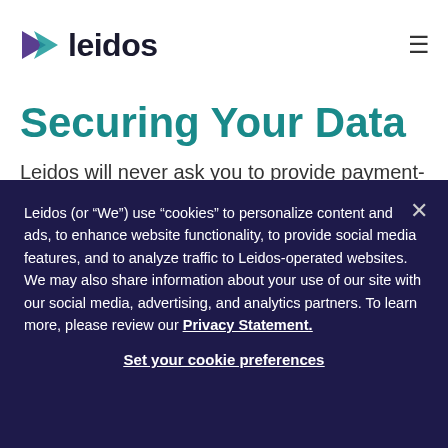[Figure (logo): Leidos company logo with purple/teal triangle arrow icon and 'leidos' text in dark navy]
Securing Your Data
Leidos will never ask you to provide payment-related information at any part of the employment application process. And Leidos will communicate with you only through emails that are sent from a Leidos.com email
Leidos (or “We”) use “cookies” to personalize content and ads, to enhance website functionality, to provide social media features, and to analyze traffic to Leidos-operated websites. We may also share information about your use of our site with our social media, advertising, and analytics partners. To learn more, please review our Privacy Statement.
Set your cookie preferences